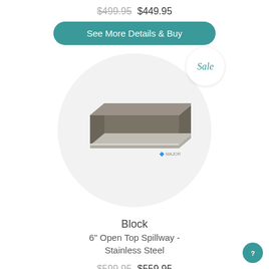$499.95 $449.95
See More Details & Buy
[Figure (photo): Stainless steel block open top spillway product image shown inside a circular frame with a Sale badge overlay]
Block
6" Open Top Spillway - Stainless Steel
$599.95 $559.95
See More Details & Buy